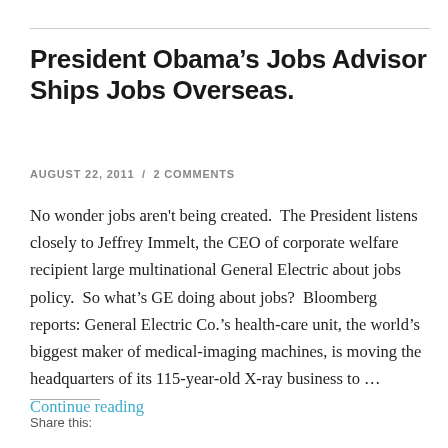President Obama's Jobs Advisor Ships Jobs Overseas.
AUGUST 22, 2011 / 2 COMMENTS
No wonder jobs aren't being created.  The President listens closely to Jeffrey Immelt, the CEO of corporate welfare recipient large multinational General Electric about jobs policy.  So what's GE doing about jobs?  Bloomberg reports: General Electric Co.'s health-care unit, the world's biggest maker of medical-imaging machines, is moving the headquarters of its 115-year-old X-ray business to … Continue reading
Share this: